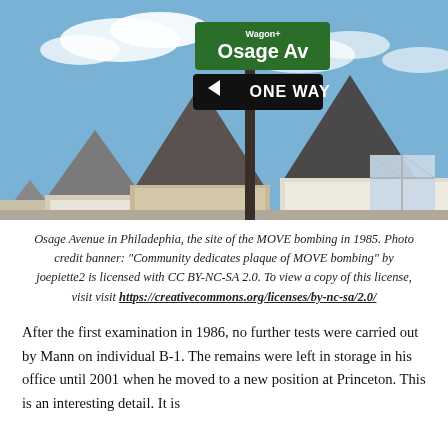[Figure (photo): Street-level photograph of Osage Avenue in Philadelphia showing residential houses with pointed rooftops and a street sign post with a green 'Osage Av' sign and a black 'ONE WAY' arrow sign, against a blue sky with clouds.]
Osage Avenue in Philadephia, the site of the MOVE bombing in 1985. Photo credit banner: "Community dedicates plaque of MOVE bombing" by joepiette2 is licensed with CC BY-NC-SA 2.0. To view a copy of this license, visit https://creativecommons.org/licenses/by-nc-sa/2.0/
After the first examination in 1986, no further tests were carried out by Mann on individual B-1. The remains were left in storage in his office until 2001 when he moved to a new position at Princeton. This is an interesting detail. It is